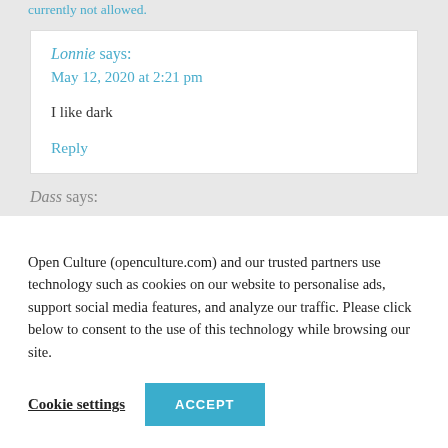You can skip to the end and leave a response. Pinging is currently not allowed.
Lonnie says:
May 12, 2020 at 2:21 pm
I like dark
Reply
Dass says:
Open Culture (openculture.com) and our trusted partners use technology such as cookies on our website to personalise ads, support social media features, and analyze our traffic. Please click below to consent to the use of this technology while browsing our site.
Cookie settings   ACCEPT